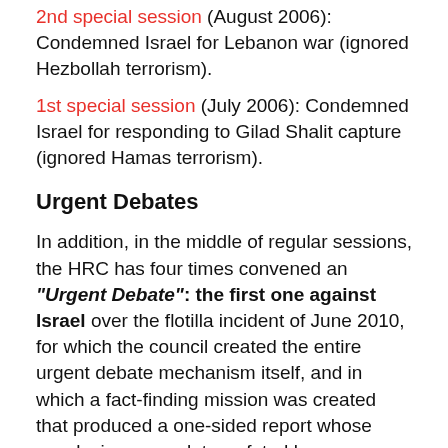2nd special session (August 2006): Condemned Israel for Lebanon war (ignored Hezbollah terrorism).
1st special session (July 2006): Condemned Israel for responding to Gilad Shalit capture (ignored Hamas terrorism).
Urgent Debates
In addition, in the middle of regular sessions, the HRC has four times convened an "Urgent Debate": the first one against Israel over the flotilla incident of June 2010, for which the council created the entire urgent debate mechanism itself, and in which a fact-finding mission was created that produced a one-sided report whose conclusions were later refuted by